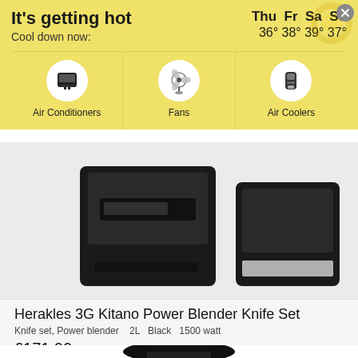It's getting hot
Cool down now:
Thu  Fr  Sa  Su
36° 38° 39° 37°
Air Conditioners
Fans
Air Coolers
[Figure (photo): Product image of Herakles 3G Kitano Power Blender Knife Set, showing black blender units on grey background]
Herakles 3G Kitano Power Blender Knife Set
Knife set, Power blender    2L    Black    1500 watt
£171,99
[Figure (photo): Bottom portion of a blender product image on white background]